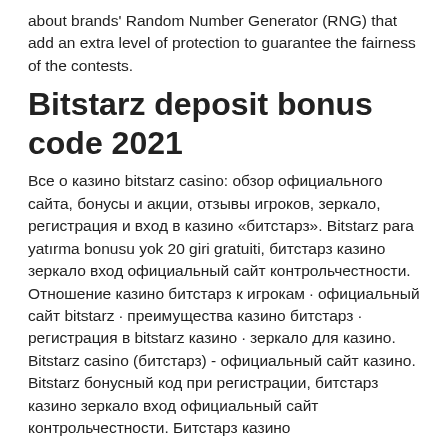about brands' Random Number Generator (RNG) that add an extra level of protection to guarantee the fairness of the contests.
Bitstarz deposit bonus code 2021
Все о казино bitstarz casino: обзор официального сайта, бонусы и акции, отзывы игроков, зеркало, регистрация и вход в казино «битстарз». Bitstarz para yatırma bonusu yok 20 giri gratuiti, битстарз казино зеркало вход официальный сайт контрольчестности. Отношение казино битстарз к игрокам · официальный сайт bitstarz · преимущества казино битстарз · регистрация в bitstarz казино · зеркало для казино. Bitstarz casino (битстарз) - официальный сайт казино. Bitstarz бонусный код при регистрации, битстарз казино зеркало вход официальный сайт контрольчестности. Битстарз казино